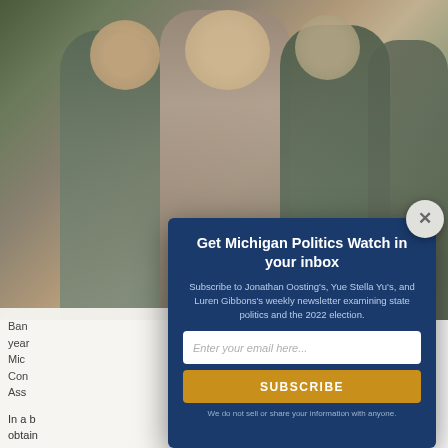[Figure (photo): Photograph of several people in tactical/military-style gear and casual clothing, outdoors]
Ban... year... Mic... Con... Ass...
In a b... obtain... Inform... client...
Get Michigan Politics Watch in your inbox
Subscribe to Jonathan Oosting's, Yue Stella Yu's, and Luren Gibbons's weekly newsletter examining state politics and the 2022 election.
Enter your email here...
SUBSCRIBE
We do not sell or share your information with anyone.